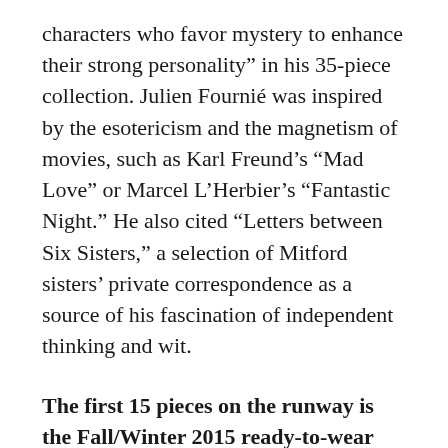characters who favor mystery to enhance their strong personality” in his 35-piece collection. Julien Fournié was inspired by the esotericism and the magnetism of movies, such as Karl Freund’s “Mad Love” or Marcel L’Herbier’s “Fantastic Night.” He also cited “Letters between Six Sisters,” a selection of Mitford sisters’ private correspondence as a source of his fascination of independent thinking and wit.
The first 15 pieces on the runway is the Fall/Winter 2015 ready-to-wear collection, which is now available in stores, particularly at Le Printemps department store, Paris. The glittery black ensembles convey deep elegance, confidence, and power.